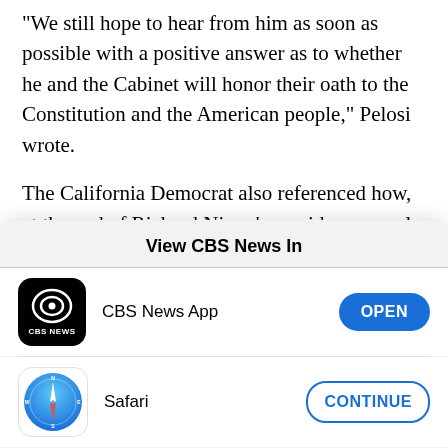"We still hope to hear from him as soon as possible with a positive answer as to whether he and the Cabinet will honor their oath to the Constitution and the American people," Pelosi wrote.
The California Democrat also referenced how, at the end of Richard Nixon's presidency nearly 50 years ago, his fellow Republicans banded together and told
[Figure (screenshot): iOS app picker modal: 'View CBS News In' with CBS News App (OPEN button) and Safari (CONTINUE button)]